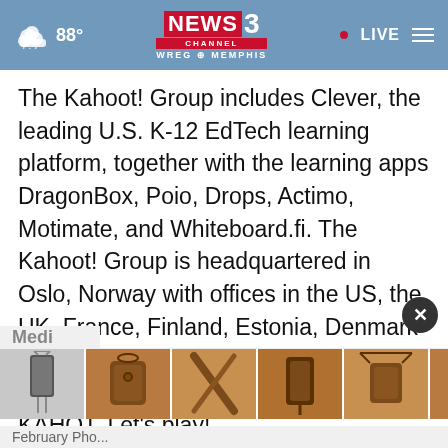88° NEWS CHANNEL 3 WREG MEMPHIS • LIVE
The Kahoot! Group includes Clever, the leading U.S. K-12 EdTech learning platform, together with the learning apps DragonBox, Poio, Drops, Actimo, Motimate, and Whiteboard.fi. The Kahoot! Group is headquartered in Oslo, Norway with offices in the US, the UK, France, Finland, Estonia, Denmark and Spain. Kahoot! is listed on the Oslo Stock Exchange under the ticker KAHOT. Let's play!
[Figure (photo): Advertisement banner showing leather bag/phone case accessories in brown tones — six product images side by side]
Medi
February Pho...